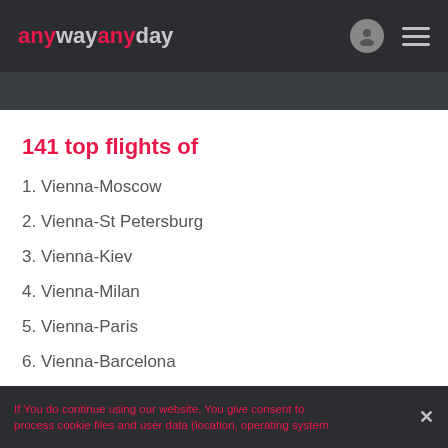anywayanyday
141 top flights of
1. Vienna-Moscow
2. Vienna-St Petersburg
3. Vienna-Kiev
4. Vienna-Milan
5. Vienna-Paris
6. Vienna-Barcelona
7. Vienna-Frankfurt
8. Vienna-Munich
9. Vienna-Prague
10. Vienna-Krasnodar
If You do continue using our website, You give consent to process cookie files and user data (location, operating system